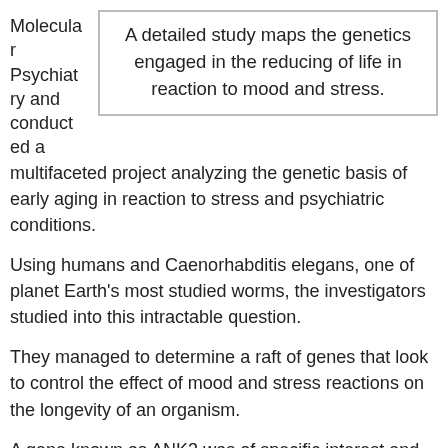Molecular Psychiatry and conducted a multifaceted project analyzing the genetic basis of early aging in reaction to stress and psychiatric conditions.
A detailed study maps the genetics engaged in the reducing of life in reaction to mood and stress.
Using humans and Caenorhabditis elegans, one of planet Earth's most studied worms, the investigators studied into this intractable question.
They managed to determine a raft of genes that look to control the effect of mood and stress reactions on the longevity of an organism.
A gene known as ANK3 was of specific interest and seemed to perform a key part in the process.